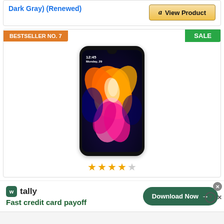[Figure (screenshot): Top portion of product card showing 'Dark Gray) (Renewed)' title in blue text and an Amazon 'View Product' button]
BESTSELLER NO. 7
SALE
[Figure (photo): Samsung Galaxy smartphone product image showing a colorful floral wallpaper on the screen with orange, pink, and blue hues]
[Figure (infographic): 4 out of 5 star rating shown in yellow stars]
Fast credit card payoff
[Figure (logo): Tally app logo - green square with 'w' letter]
Download Now